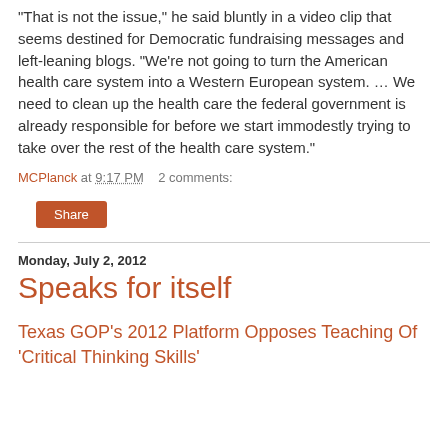"That is not the issue," he said bluntly in a video clip that seems destined for Democratic fundraising messages and left-leaning blogs. "We're not going to turn the American health care system into a Western European system. … We need to clean up the health care the federal government is already responsible for before we start immodestly trying to take over the rest of the health care system."
MCPlanck at 9:17 PM   2 comments:
Share
Monday, July 2, 2012
Speaks for itself
Texas GOP's 2012 Platform Opposes Teaching Of 'Critical Thinking Skills'